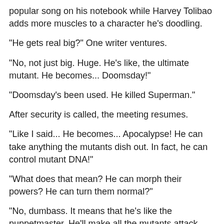popular song on his notebook while Harvey Tolibao adds more muscles to a character he's doodling.
"He gets real big?" One writer ventures.
"No, not just big. Huge. He's like, the ultimate mutant. He becomes... Doomsday!"
"Doomsday's been used. He killed Superman."
After security is called, the meeting resumes.
"Like I said... He becomes... Apocalypse! He can take anything the mutants dish out. In fact, he can control mutant DNA!"
"What does that mean? He can morph their powers? He can turn them normal?"
"No, dumbass. It means that he's like the puppetmaster. He'll make all the mutants attack each other and innocent people."
("You can do that with controlling DNA?" another writer asks